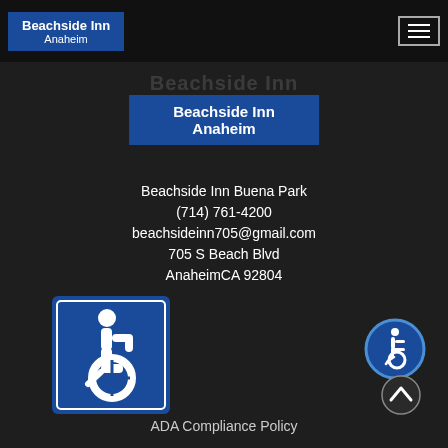Beachside Inn Anaheim — navigation header with logo and hamburger menu
Beachside Inn Anaheim
Beachside Inn Buena Park
(714) 761-4200
beachsideinn705@gmail.com
705 S Beach Blvd
AnaheimCA 92804
[Figure (logo): Wheelchair accessibility logo — blue square with white International Symbol of Access (ISA) wheelchair figure]
[Figure (logo): Circular wheelchair accessibility icon with blue outline and white wheelchair symbol]
ADA Compliance Policy